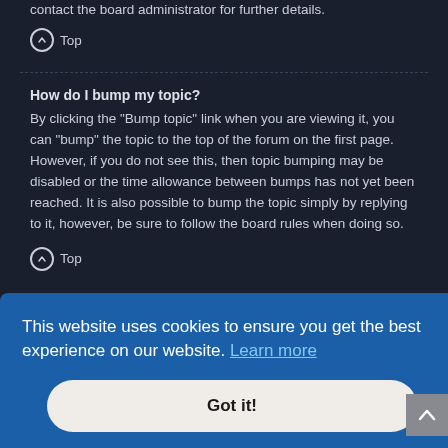contact the board administrator for further details.
⬆ Top
How do I bump my topic?
By clicking the "Bump topic" link when you are viewing it, you can "bump" the topic to the top of the forum on the first page. However, if you do not see this, then topic bumping may be disabled or the time allowance between bumps has not yet been reached. It is also possible to bump the topic simply by replying to it, however, be sure to follow the board rules when doing so.
⬆ Top
This website uses cookies to ensure you get the best experience on our website. Learn more
Got it!
disabled on a per post basis from the posting form. BBCode